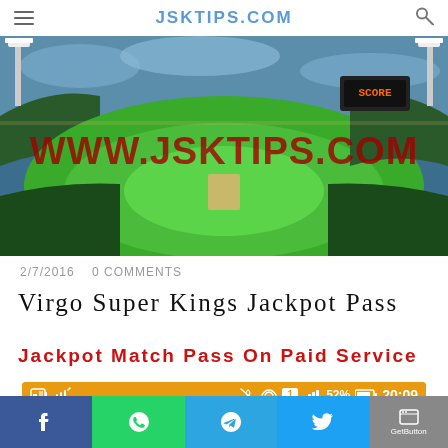JSKTIPS.COM
[Figure (photo): Aerial panoramic view of a cricket stadium with green field and crowd, with watermark text WWW.JSKTIPS.COM in dark red]
2/7/2016   0 COMMENTS
Virgo Super Kings Jackpot Pass
Jackpot Match Pass On Paid Service
[Figure (screenshot): Mobile phone screenshot showing orange WhatsApp-style messaging interface with status bar showing 52% battery, 20:09 time, and RM-CRNEWS contact header]
Facebook | WhatsApp | Telegram | Twitter | GetButton